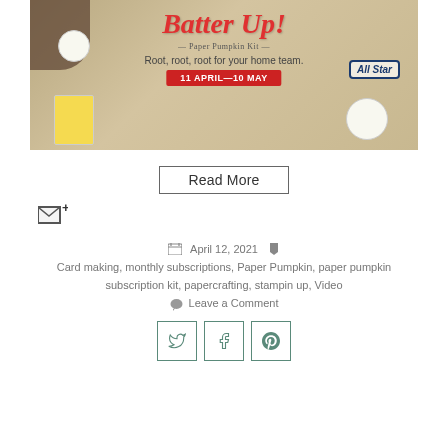[Figure (illustration): Batter Up! Paper Pumpkin Kit promotional banner with baseball theme. Features baseballs, glove, and baseball card on wood background. Red title text 'Batter Up!', subtitle 'Paper Pumpkin Kit', tagline 'Root, root, root for your home team.', red button '11 APRIL—10 MAY', and 'All Star' badge.]
Read More
[Figure (illustration): Email subscription icon: envelope with plus sign]
April 12, 2021
Card making, monthly subscriptions, Paper Pumpkin, paper pumpkin subscription kit, papercrafting, stampin up, Video
Leave a Comment
[Figure (illustration): Social media share buttons: Twitter (bird icon), Facebook (f icon), Pinterest (P icon), each in a square border]